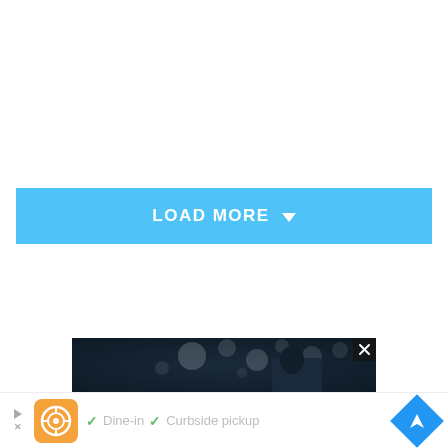[Figure (other): A blue 'LOAD MORE' button with a downward arrow icon, used for loading additional content on a webpage.]
[Figure (photo): A dark, blurred photograph showing a person or scene with bokeh lighting in the background, appearing to be an advertisement image with a close (X) button in the top right corner.]
[Figure (other): An advertisement bar showing a logo (orange square with white circular design), checkmark icons with 'Dine-in' and 'Curbside pickup' text in grey, a play/close control on the left, and a blue diamond-shaped direction arrow icon on the right.]